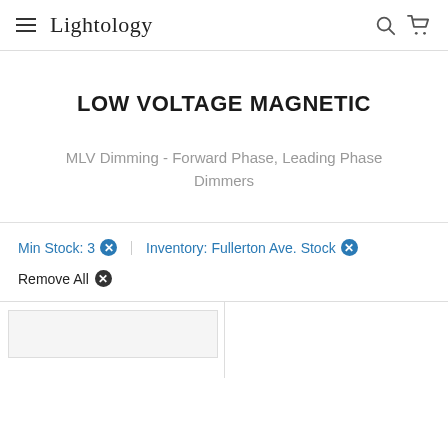Lightology
LOW VOLTAGE MAGNETIC
MLV Dimming - Forward Phase, Leading Phase Dimmers
Min Stock: 3 ✕   Inventory: Fullerton Ave. Stock ✕
Remove All ✕